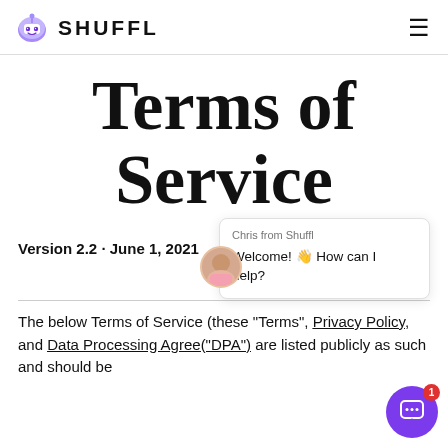SHUFFL
Terms of Service
Version 2.2 · June 1, 2021
Chris from Shuffl
Welcome! 👋 How can I help?
The below Terms of Service (these "Terms", Privacy Policy, and Data Processing Agreement ("DPA") are listed publicly as such and should be